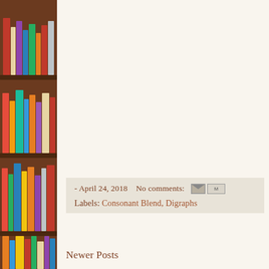[Figure (photo): Bookshelf with colorful books on wooden shelves, decorative left sidebar image]
- April 24, 2018   No comments:
Labels: Consonant Blend, Digraphs
Newer Posts